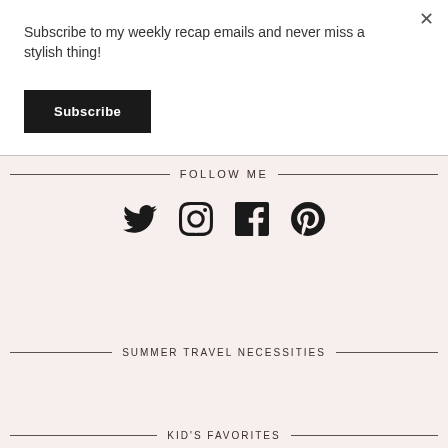Subscribe to my weekly recap emails and never miss a stylish thing!
Subscribe
×
FOLLOW ME
[Figure (infographic): Social media icons: Twitter, Instagram, Facebook, Pinterest]
SUMMER TRAVEL NECESSITIES
KID'S FAVORITES